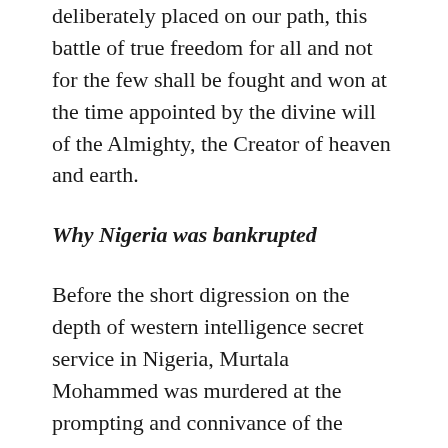deliberately placed on our path, this battle of true freedom for all and not for the few shall be fought and won at the time appointed by the divine will of the Almighty, the Creator of heaven and earth.
Why Nigeria was bankrupted
Before the short digression on the depth of western intelligence secret service in Nigeria, Murtala Mohammed was murdered at the prompting and connivance of the western powers. He was seen as a dangerous man who was bent on shattering the cunningly crafted economic and political plans and designs Britain and other western powers have put in Africa. It was the time when Nigeria was